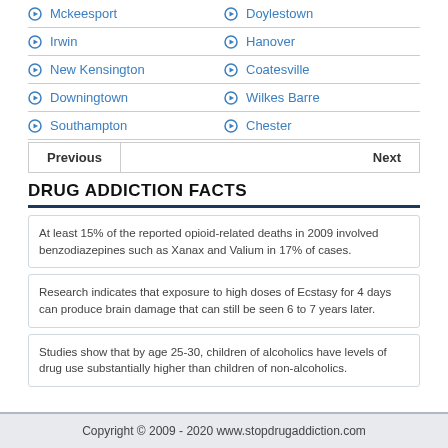Mckeesport
Doylestown
Irwin
Hanover
New Kensington
Coatesville
Downingtown
Wilkes Barre
Southampton
Chester
Previous   Next
DRUG ADDICTION FACTS
At least 15% of the reported opioid-related deaths in 2009 involved benzodiazepines such as Xanax and Valium in 17% of cases.
Research indicates that exposure to high doses of Ecstasy for 4 days can produce brain damage that can still be seen 6 to 7 years later.
Studies show that by age 25-30, children of alcoholics have levels of drug use substantially higher than children of non-alcoholics.
Copyright © 2009 - 2020 www.stopdrugaddiction.com